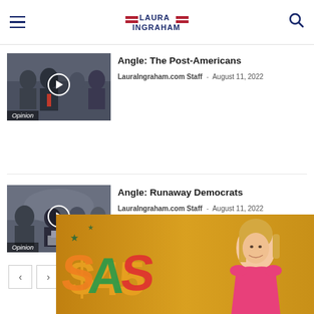Laura Ingraham
Angle: The Post-Americans
LauraIngraham.com Staff – August 11, 2022
[Figure (photo): Thumbnail image with play button, labeled Opinion]
Angle: Runaway Democrats
LauraIngraham.com Staff – August 11, 2022
[Figure (photo): Thumbnail image with play button, labeled Opinion]
[Figure (photo): Bottom promotional banner with Laura Ingraham photo on golden background with colorful SAS text]